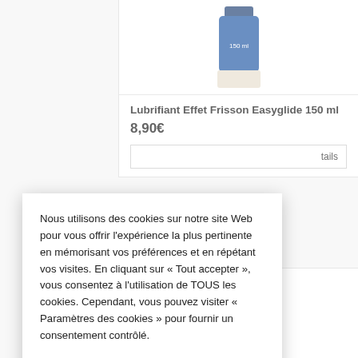[Figure (photo): Product image area showing top of a blue bottle labeled 150 ml]
Lubrifiant Effet Frisson Easyglide 150 ml
8,90€
tails
Nous utilisons des cookies sur notre site Web pour vous offrir l'expérience la plus pertinente en mémorisant vos préférences et en répétant vos visites. En cliquant sur « Tout accepter », vous consentez à l'utilisation de TOUS les cookies. Cependant, vous pouvez visiter « Paramètres des cookies » pour fournir un consentement contrôlé.
Cookie Settings
Tout accepter
Refuser
[Figure (photo): Bottom of page showing product with SILICONE label]